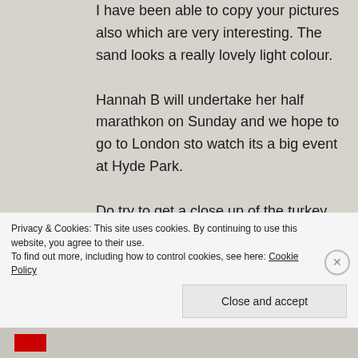I have been able to copy your pictures also which are very interesting. The sand looks a really lovely light colour. Hannah B will undertake her half marathkon on Sunday and we hope to go to London sto watch its a big event at Hyde Park. Do try to get a close up of the turkey vulcher when you have the time. Jason has just phoned to say he is going to collect your car from Salisbury. I will sign
Privacy & Cookies: This site uses cookies. By continuing to use this website, you agree to their use. To find out more, including how to control cookies, see here: Cookie Policy
Close and accept